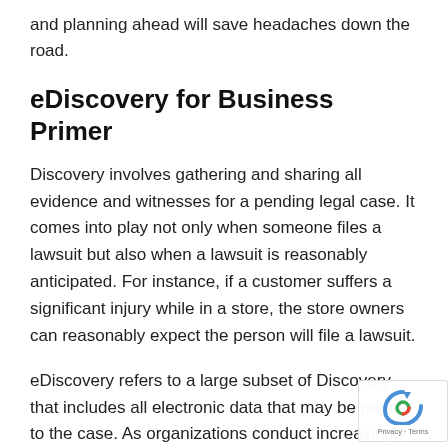and planning ahead will save headaches down the road.
eDiscovery for Business Primer
Discovery involves gathering and sharing all evidence and witnesses for a pending legal case. It comes into play not only when someone files a lawsuit but also when a lawsuit is reasonably anticipated. For instance, if a customer suffers a significant injury while in a store, the store owners can reasonably expect the person will file a lawsuit.
eDiscovery refers to a large subset of Discovery that includes all electronic data that may be related to the case. As organizations conduct increasingly more business digitally, the body of information included in